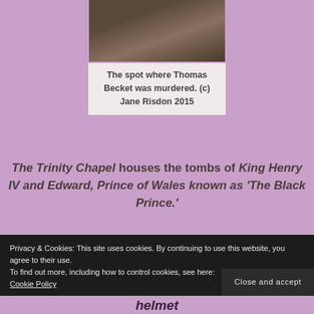[Figure (photo): Photo of the spot where Thomas Becket was murdered, interior of Canterbury Cathedral]
The spot where Thomas Becket was murdered. (c) Jane Risdon 2015
The Trinity Chapel houses the tombs of King Henry IV and Edward, Prince of Wales known as 'The Black Prince.'
Privacy & Cookies: This site uses cookies. By continuing to use this website, you agree to their use.
To find out more, including how to control cookies, see here:
Cookie Policy
Close and accept